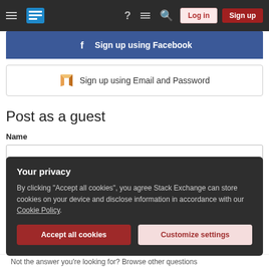Stack Exchange navigation bar with hamburger menu, logo, help, chat, search icons, Log in and Sign up buttons
Sign up using Facebook
Sign up using Email and Password
Post as a guest
Name
Email
Required, but never shown
Your privacy
By clicking "Accept all cookies", you agree Stack Exchange can store cookies on your device and disclose information in accordance with our Cookie Policy.
Accept all cookies
Customize settings
Not the answer you're looking for? Browse other questions